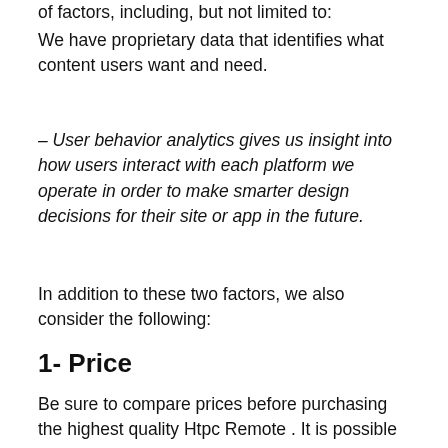of factors, including, but not limited to:
We have proprietary data that identifies what content users want and need.
– User behavior analytics gives us insight into how users interact with each platform we operate in order to make smarter design decisions for their site or app in the future.
In addition to these two factors, we also consider the following:
1- Price
Be sure to compare prices before purchasing the highest quality Htpc Remote . It is possible for some sellers to charge